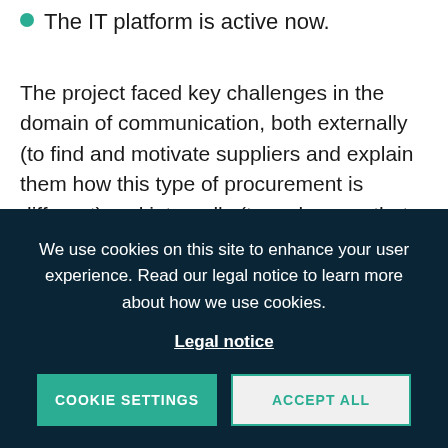The IT platform is active now.
The project faced key challenges in the domain of communication, both externally (to find and motivate suppliers and explain them how this type of procurement is different) and internally (to make sure that city departments adopt the method and learn how to formulate open challenges), but they have been largely successfully addressed. It remains a challenge, however, to engage end users more in the design of new digital
We use cookies on this site to enhance your user experience. Read our legal notice to learn more about how we use cookies.
Legal notice
COOKIE SETTINGS
ACCEPT ALL